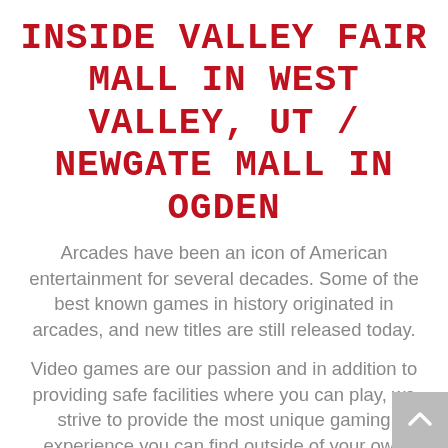Inside Valley Fair Mall in West Valley, UT / Newgate Mall in Ogden
Arcades have been an icon of American entertainment for several decades. Some of the best known games in history originated in arcades, and new titles are still released today.
Video games are our passion and in addition to providing safe facilities where you can play, we strive to provide the most unique gaming experience you can find outside of your own home, making for awesome memories!